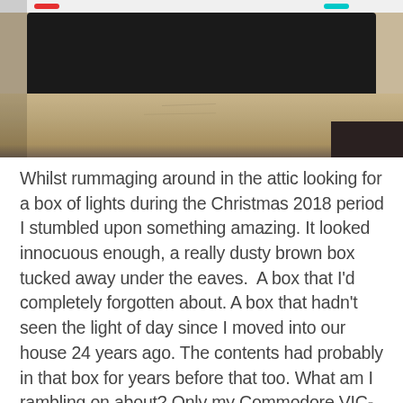[Figure (photo): Photo of a dark electronic device (likely a monitor or TV) on a wooden surface, taken from above. The image is partially cropped showing the top edge of the device against a light beige/tan surface. There are colored indicator lights visible at the top — red on the left and cyan/teal on the right.]
Whilst rummaging around in the attic looking for a box of lights during the Christmas 2018 period I stumbled upon something amazing. It looked innocuous enough, a really dusty brown box tucked away under the eaves.  A box that I'd completely forgotten about. A box that hadn't seen the light of day since I moved into our house 24 years ago. The contents had probably in that box for years before that too. What am I rambling on about? Only my Commodore VIC-20 that's what. The very first computer I ever owned or indeed used! Not an eBay re-acquisition but the actual machine that my parents bought me for Christmas when I was 12 years old!